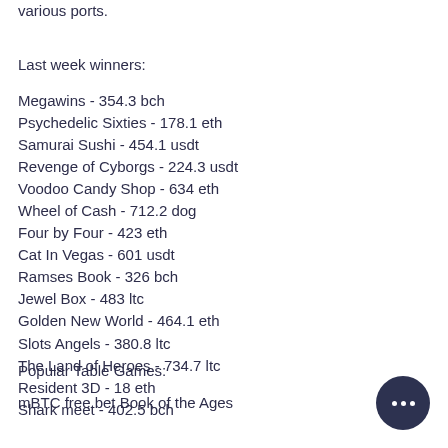various ports.
Last week winners:
Megawins - 354.3 bch
Psychedelic Sixties - 178.1 eth
Samurai Sushi - 454.1 usdt
Revenge of Cyborgs - 224.3 usdt
Voodoo Candy Shop - 634 eth
Wheel of Cash - 712.2 dog
Four by Four - 423 eth
Cat In Vegas - 601 usdt
Ramses Book - 326 bch
Jewel Box - 483 ltc
Golden New World - 464.1 eth
Slots Angels - 380.8 ltc
The Land of Heroes - 734.7 ltc
Resident 3D - 18 eth
Shark meet - 402.5 bch
Popular Table Games:
mBTC free bet Book of the Ages